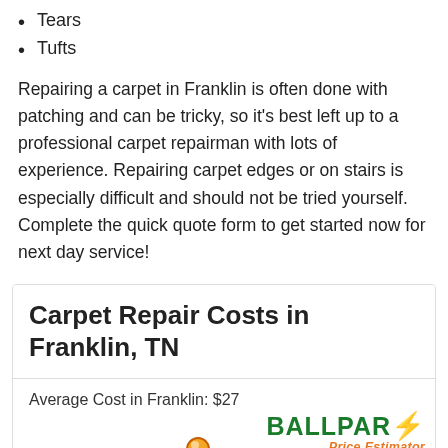Tears
Tufts
Repairing a carpet in Franklin is often done with patching and can be tricky, so it's best left up to a professional carpet repairman with lots of experience. Repairing carpet edges or on stairs is especially difficult and should not be tried yourself. Complete the quick quote form to get started now for next day service!
Carpet Repair Costs in Franklin, TN
Average Cost in Franklin: $27
[Figure (illustration): Ballpark Price Estimator logo with green hill chart background, orange dot marker, and lightning bolt]